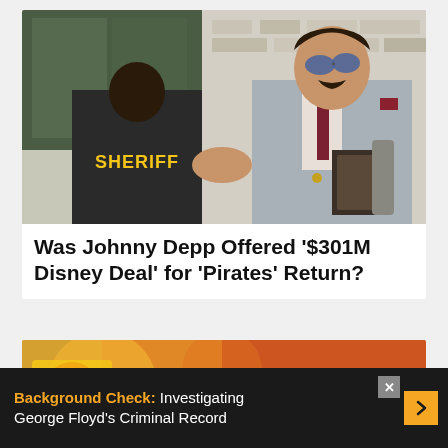[Figure (photo): A man in a light grey suit with sunglasses shaking hands with a person wearing a black Sheriff vest, outdoors near a brick wall]
Was Johnny Depp Offered '$301M Disney Deal' for 'Pirates' Return?
[Figure (photo): Partial view of a second article image, showing blurred colorful background]
Background Check:  Investigating George Floyd's Criminal Record